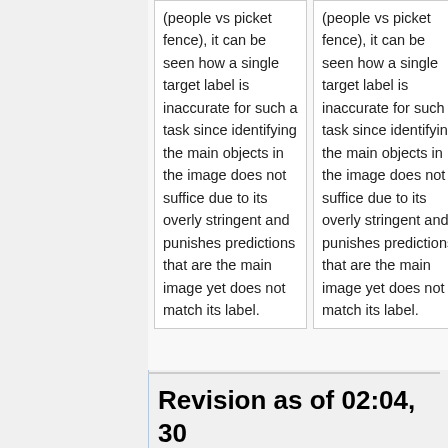(people vs picket fence), it can be seen how a single target label is inaccurate for such a task since identifying the main objects in the image does not suffice due to its overly stringent and punishes predictions that are the main image yet does not match its label.
(people vs picket fence), it can be seen how a single target label is inaccurate for such a task since identifying the main objects in the image does not suffice due to its overly stringent and punishes predictions that are the main image yet does not match its label.
Revision as of 02:04, 30 November 2020